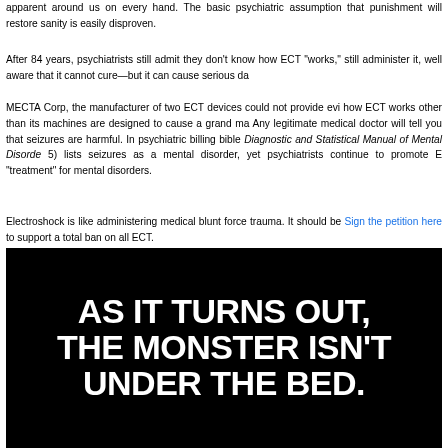apparent around us on every hand. The basic psychiatric assumption that punishment will restore sanity is easily disproven.
After 84 years, psychiatrists still admit they don't know how ECT “works,” still administer it, well aware that it cannot cure—but it can cause serious da…
MECTA Corp, the manufacturer of two ECT devices could not provide evi… how ECT works other than its machines are designed to cause a grand mal… Any legitimate medical doctor will tell you that seizures are harmful. In… psychiatric billing bible Diagnostic and Statistical Manual of Mental Disorde… 5) lists seizures as a mental disorder, yet psychiatrists continue to promote E… “treatment” for mental disorders.
Electroshock is like administering medical blunt force trauma. It should be… Sign the petition here to support a total ban on all ECT.
[Figure (photo): Black background image with large white bold text reading: AS IT TURNS OUT, THE MONSTER ISN'T UNDER THE BED.]